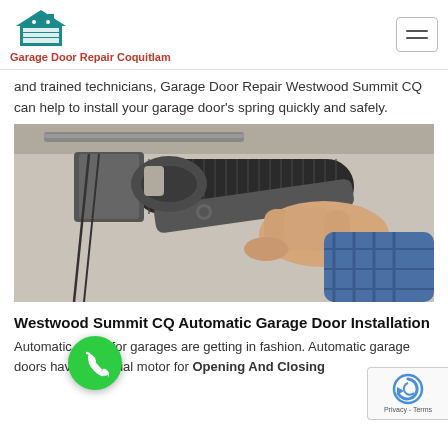Garage Door Repair Coquitlam
and trained technicians, Garage Door Repair Westwood Summit CQ can help to install your garage door's spring quickly and safely.
[Figure (photo): A person using a wrench to work on a garage door torsion spring mounted on a wall bracket. The worker is wearing a blue plaid shirt and gripping the spring mechanism with an adjustable wrench.]
Westwood Summit CQ Automatic Garage Door Installation
Automatic doors for garages are getting in fashion. Automatic garage doors have a special motor for Opening And Closing